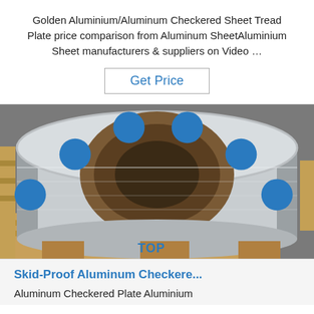Golden Aluminium/Aluminum Checkered Sheet Tread Plate price comparison from Aluminum SheetAluminium Sheet manufacturers & suppliers on Video ...
Get Price
[Figure (photo): A large roll of aluminum sheet/coil standing upright on wooden pallets, showing the hollow cardboard core in the center, on a concrete floor background.]
[Figure (logo): TOP badge with blue dotted arc above the letters TOP in blue.]
Skid-Proof Aluminum Checkere...
Aluminum Checkered Plate Aluminium